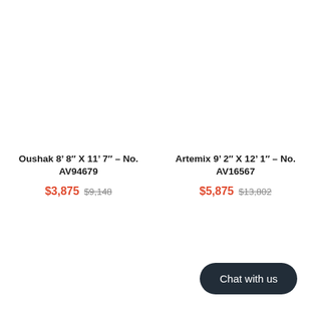Oushak 8’ 8″ X 11’ 7″ – No. AV94679
$3,875 $9,148
Artemix 9’ 2″ X 12’ 1″ – No. AV16567
$5,875 $13,802
Chat with us